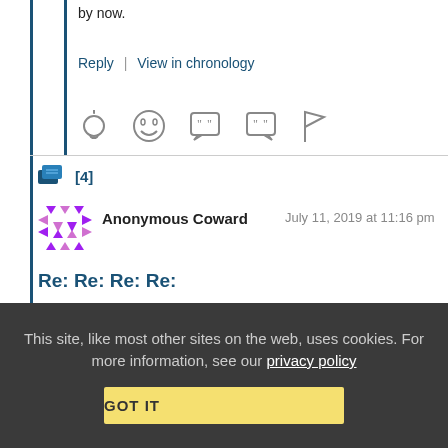by now.
Reply | View in chronology
[Figure (other): Row of action icons: lightbulb, laughing emoji, quote bubble, quote bubble alt, flag]
[4]
[Figure (illustration): Anonymous Coward avatar - purple/pink abstract pixel pattern]
Anonymous Coward
July 11, 2019 at 11:16 pm
Re: Re: Re: Re:
This site, like most other sites on the web, uses cookies. For more information, see our privacy policy
GOT IT